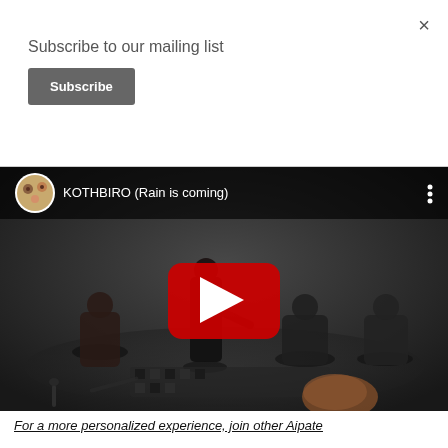×
Subscribe to our mailing list
Subscribe
[Figure (screenshot): YouTube video thumbnail showing a dark studio scene with multiple people performing with instruments and objects on the floor. The video title reads 'KOTHBIRO (Rain is coming)' with a YouTube channel avatar, three dots menu, and a large red play button in the center.]
For a more personalized experience, join other Aipate